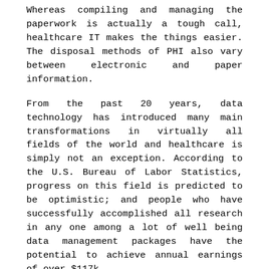Whereas compiling and managing the paperwork is actually a tough call, healthcare IT makes the things easier. The disposal methods of PHI also vary between electronic and paper information.
From the past 20 years, data technology has introduced many main transformations in virtually all fields of the world and healthcare is simply not an exception. According to the U.S. Bureau of Labor Statistics, progress on this field is predicted to be optimistic; and people who have successfully accomplished all research in any one among a lot of well being data management packages have the potential to achieve annual earnings of over $117k.
Not solely do refined medical practices help patients heal directly; new expertise has additionally improved analysis so experts could make healthcare much more efficient. Organizations can not sell PHI except it's for public health activities, research, therapy, providers rendered, or the merger or acquisition of a HIPAA-covered entity.
Such techniques could also be used to improve the effectivity